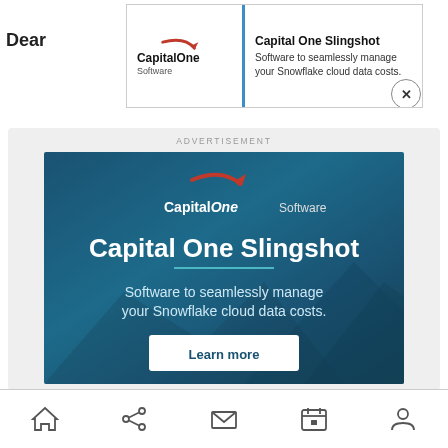Dear
[Figure (screenshot): Capital One Software banner advertisement popup showing logo, brand name 'Capital One Slingshot', tagline 'Software to seamlessly manage your Snowflake cloud data costs.' with a close (X) button]
ADVERTISEMENT
[Figure (screenshot): Large Capital One Software advertisement on dark teal background featuring Capital One logo, title 'Capital One Slingshot', teal divider line, tagline 'Software to seamlessly manage your Snowflake cloud data costs.', and a 'Learn more' white button]
[Figure (infographic): Mobile bottom navigation bar with home, share, mail, calendar, and person icons]